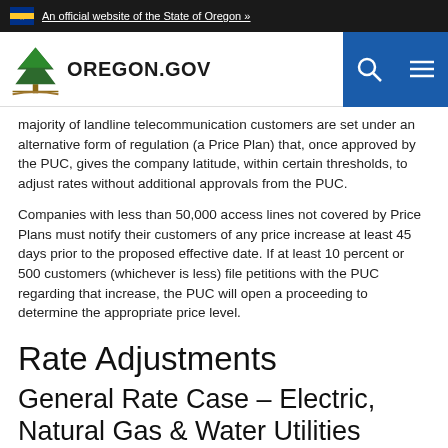An official website of the State of Oregon »
[Figure (logo): Oregon.gov logo with tree illustration and navigation icons (search, menu) on blue background]
majority of landline telecommunication customers are set under an alternative form of regulation (a Price Plan) that, once approved by the PUC, gives the company latitude, within certain thresholds, to adjust rates without additional approvals from the PUC.
Companies with less than 50,000 access lines not covered by Price Plans must notify their customers of any price increase at least 45 days prior to the proposed effective date. If at least 10 percent or 500 customers (whichever is less) file petitions with the PUC regarding that increase, the PUC will open a proceeding to determine the appropriate price level.
Rate Adjustments
General Rate Case – Electric, Natural Gas & Water Utilities